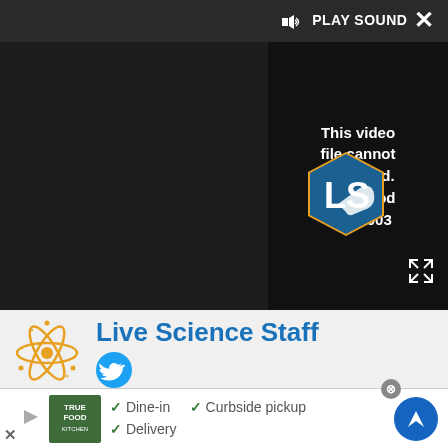[Figure (screenshot): Video player showing error: 'This video file cannot be played. (Error Code: 224003)' with PLAY SOUND control bar at top, LS logo visible, dark background]
Live Science Staff
[Figure (logo): Twitter bird icon (blue circle)]
For the science geek in everyone, Live Science offers a fascinating window into the natural and technological world, delivering comprehensive and compelling news and analysis on everything from dinosaur discoveries, archaeological finds and amazing animals to health, innovation and
[Figure (infographic): Advertisement banner: True Food Kitchen logo with checkmarks for Dine-in, Delivery, Curbside pickup and navigation arrow icon]